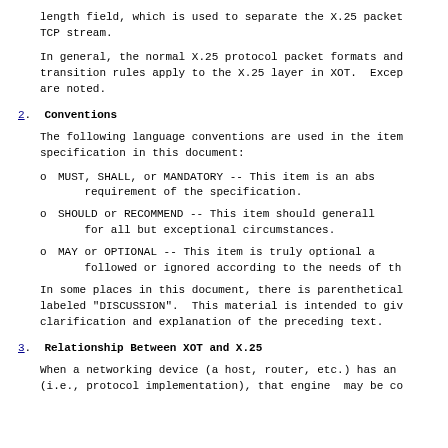length field, which is used to separate the X.25 packet TCP stream.
In general, the normal X.25 protocol packet formats and transition rules apply to the X.25 layer in XOT. Except are noted.
2. Conventions
The following language conventions are used in the item specification in this document:
MUST, SHALL, or MANDATORY -- This item is an abs requirement of the specification.
SHOULD or RECOMMEND -- This item should generall for all but exceptional circumstances.
MAY or OPTIONAL -- This item is truly optional a followed or ignored according to the needs of th
In some places in this document, there is parenthetical labeled "DISCUSSION". This material is intended to giv clarification and explanation of the preceding text.
3. Relationship Between XOT and X.25
When a networking device (a host, router, etc.) has an (i.e., protocol implementation), that engine may be co